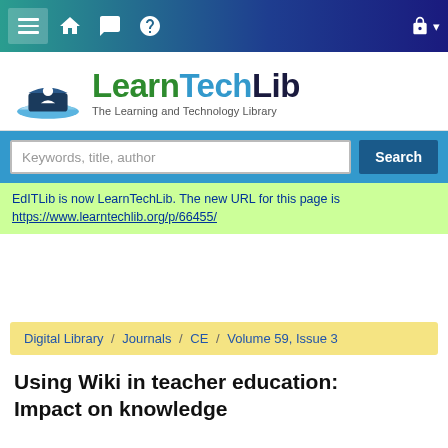[Figure (screenshot): LearnTechLib website screenshot showing navigation bar, logo, search bar, notification, breadcrumb, and article title]
EdITLib is now LearnTechLib. The new URL for this page is https://www.learntechlib.org/p/66455/
Digital Library / Journals / CE / Volume 59, Issue 3
Using Wiki in teacher education: Impact on knowledge